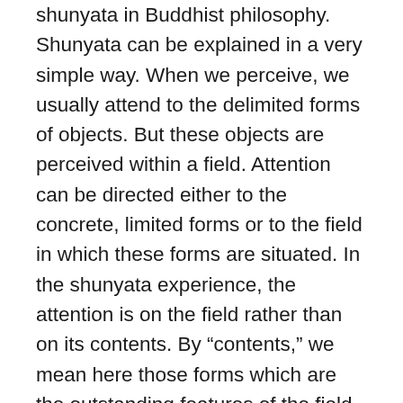shunyata in Buddhist philosophy. Shunyata can be explained in a very simple way. When we perceive, we usually attend to the delimited forms of objects. But these objects are perceived within a field. Attention can be directed either to the concrete, limited forms or to the field in which these forms are situated. In the shunyata experience, the attention is on the field rather than on its contents. By “contents,” we mean here those forms which are the outstanding features of the field itself. We also might notice that when we have an idea before our mind, the territory, as it were, delimited by the idea is blurred; it fades into something which is quite open. This open dimension is the basic meaning of shunyata. This openness is present in and actually permeated by a tenderness of...